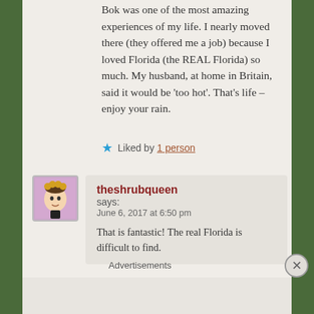Bok was one of the most amazing experiences of my life. I nearly moved there (they offered me a job) because I loved Florida (the REAL Florida) so much. My husband, at home in Britain, said it would be 'too hot'. That's life – enjoy your rain.
★ Liked by 1 person
theshrubqueen says: June 6, 2017 at 6:50 pm
That is fantastic! The real Florida is difficult to find.
Advertisements